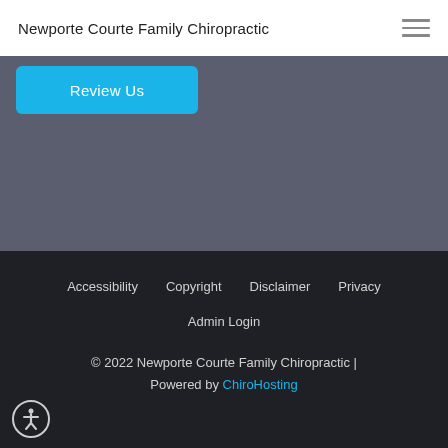Newporte Courte Family Chiropractic
[Figure (screenshot): Review Us button - cyan/blue rounded rectangle button with white text on dark grey background]
Accessibility  Copyright  Disclaimer  Privacy  Admin Login  © 2022 Newporte Courte Family Chiropractic | Powered by ChiroHosting